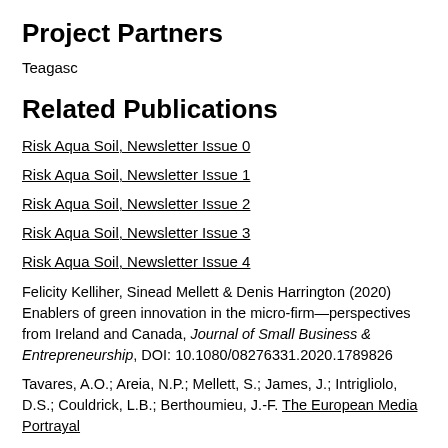Project Partners
Teagasc
Related Publications
Risk Aqua Soil, Newsletter Issue 0
Risk Aqua Soil, Newsletter Issue 1
Risk Aqua Soil, Newsletter Issue 2
Risk Aqua Soil, Newsletter Issue 3
Risk Aqua Soil, Newsletter Issue 4
Felicity Kelliher, Sinead Mellett & Denis Harrington (2020) Enablers of green innovation in the micro-firm—perspectives from Ireland and Canada, Journal of Small Business & Entrepreneurship, DOI: 10.1080/08276331.2020.1789826
Tavares, A.O.; Areia, N.P.; Mellett, S.; James, J.; Intrigliolo, D.S.; Couldrick, L.B.; Berthoumieu, J.-F. The European Media Portrayal